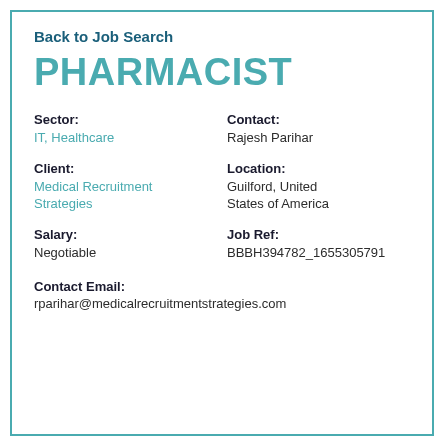Back to Job Search
PHARMACIST
Sector: IT, Healthcare
Contact: Rajesh Parihar
Client: Medical Recruitment Strategies
Location: Guilford, United States of America
Salary: Negotiable
Job Ref: BBBH394782_1655305791
Contact Email: rparihar@medicalrecruitmentstrategies.com